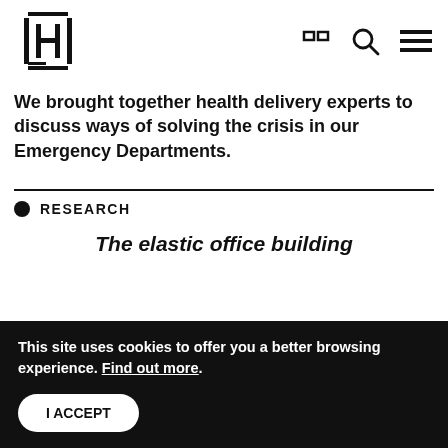H [logo] — navigation icons
We brought together health delivery experts to discuss ways of solving the crisis in our Emergency Departments.
RESEARCH
The elastic office building
This site uses cookies to offer you a better browsing experience. Find out more.
I ACCEPT